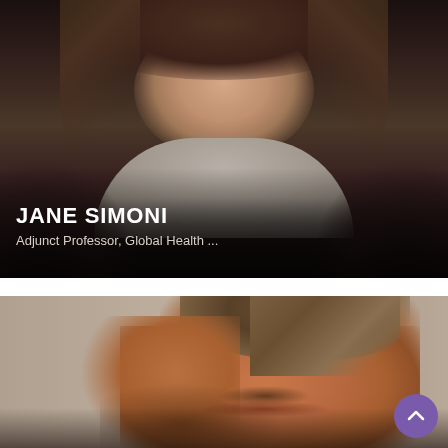[Figure (photo): Portrait photo of Jane Simoni, a woman with light brown hair wearing a grey turtleneck and dark jacket]
JANE SIMONI
Adjunct Professor, Global Health ...
[Figure (photo): Close-up portrait photo of a smiling man with swept-back brown/grey hair and a mustache, against a light wall background]